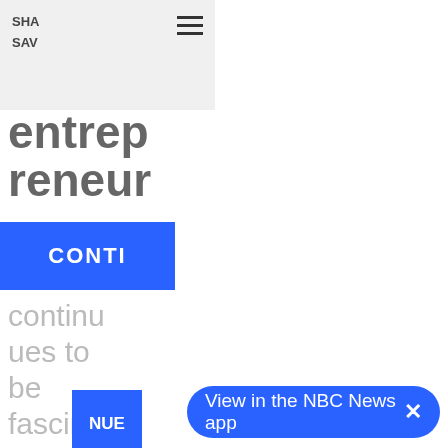SHA SAV
entrepreneur
CONTI
continues to be fascina
NUE
READING
chevron down
Taboola Feed
View in the NBC News app